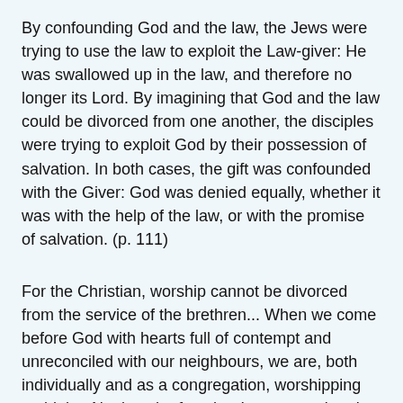By confounding God and the law, the Jews were trying to use the law to exploit the Law-giver: He was swallowed up in the law, and therefore no longer its Lord. By imagining that God and the law could be divorced from one another, the disciples were trying to exploit God by their possession of salvation. In both cases, the gift was confounded with the Giver: God was denied equally, whether it was with the help of the law, or with the promise of salvation. (p. 111)
For the Christian, worship cannot be divorced from the service of the brethren... When we come before God with hearts full of contempt and unreconciled with our neighbours, we are, both individually and as a congregation, worshipping an idol.... Not just the fact that I am angry, but the fact that there is somebody who has been hurt, damaged and disgraced by me, who 'has a cause against me', erects a barrier between me